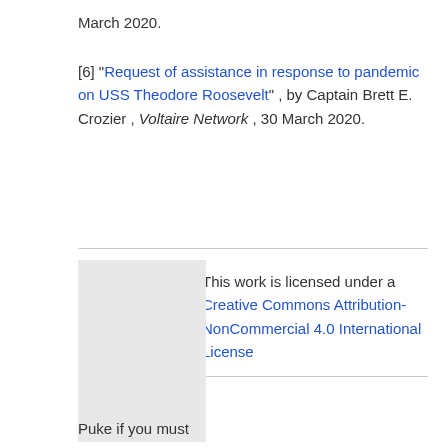March 2020.
[6] “Request of assistance in response to pandemic on USS Theodore Roosevelt” , by Captain Brett E. Crozier , Voltaire Network , 30 March 2020.
[Figure (illustration): Creative Commons license image placeholder (grey box)]
This work is licensed under a Creative Commons Attribution-NonCommercial 4.0 International License
[Figure (illustration): Grey placeholder image block]
Puke if you must